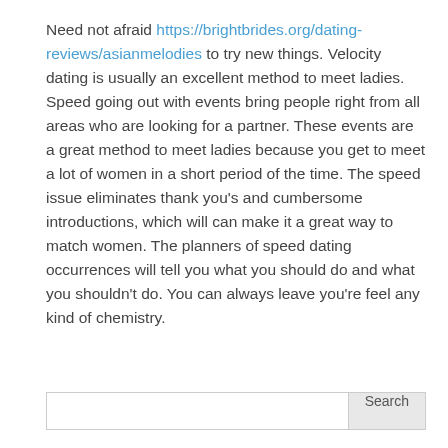Need not afraid https://brightbrides.org/dating-reviews/asianmelodies to try new things. Velocity dating is usually an excellent method to meet ladies. Speed going out with events bring people right from all areas who are looking for a partner. These events are a great method to meet ladies because you get to meet a lot of women in a short period of the time. The speed issue eliminates thank you's and cumbersome introductions, which will can make it a great way to match women. The planners of speed dating occurrences will tell you what you should do and what you shouldn't do. You can always leave you're feel any kind of chemistry.